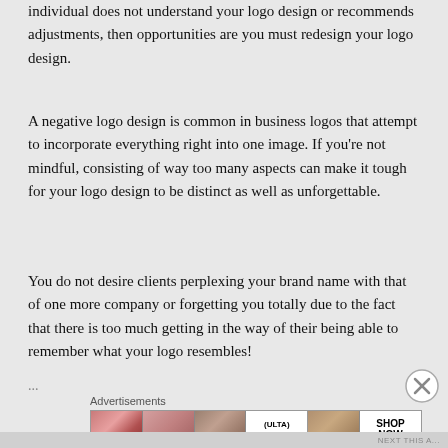individual does not understand your logo design or recommends adjustments, then opportunities are you must redesign your logo design.
A negative logo design is common in business logos that attempt to incorporate everything right into one image. If you're not mindful, consisting of way too many aspects can make it tough for your logo design to be distinct as well as unforgettable.
You do not desire clients perplexing your brand name with that of one more company or forgetting you totally due to the fact that there is too much getting in the way of their being able to remember what your logo resembles!
[Figure (other): Close button (X in circle) in the top right area]
...
Advertisements
[Figure (other): Advertisements banner for ULTA beauty with makeup images and SHOP NOW text]